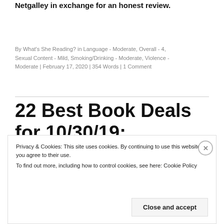Netgalley in exchange for an honest review.
By What's She Reading? in Language - Moderate, Overall - 4, Sexual Content - Mild, Smoking/Drinking - Moderate, Violence - Moderate | February 17, 2020 | 354 Words | 1 Comment
22 Best Book Deals for 10/30/19:
Privacy & Cookies: This site uses cookies. By continuing to use this website, you agree to their use.
To find out more, including how to control cookies, see here: Cookie Policy
Close and accept